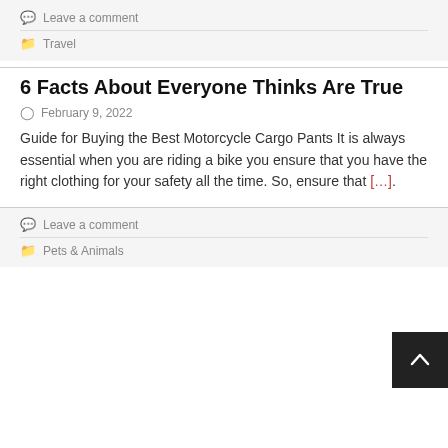Leave a comment
Travel
6 Facts About Everyone Thinks Are True
February 9, 2022
Guide for Buying the Best Motorcycle Cargo Pants It is always essential when you are riding a bike you ensure that you have the right clothing for your safety all the time. So, ensure that [...]
Leave a comment
Pets & Animals